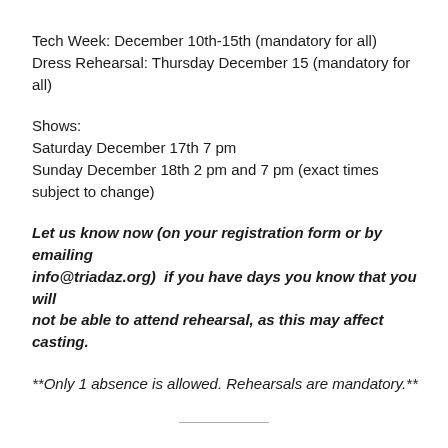Tech Week: December 10th-15th (mandatory for all)
Dress Rehearsal: Thursday December 15 (mandatory for all)
Shows:
Saturday December 17th 7 pm
Sunday December 18th 2 pm and 7 pm (exact times subject to change)
Let us know now (on your registration form or by emailing info@triadaz.org)  if you have days you know that you will not be able to attend rehearsal, as this may affect casting.
**Only 1 absence is allowed. Rehearsals are mandatory.**